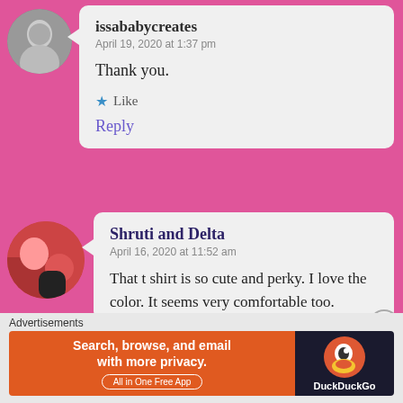[Figure (photo): Circular avatar of a woman in black and white photo]
issababycreates
April 19, 2020 at 1:37 pm

Thank you.

★ Like

Reply
[Figure (photo): Circular avatar showing a person with a dog, colorful photo]
Shruti and Delta
April 16, 2020 at 11:52 am

That t shirt is so cute and perky. I love the color. It seems very comfortable too. Thanks for sharing
Advertisements
[Figure (screenshot): DuckDuckGo advertisement banner: Search, browse, and email with more privacy. All in One Free App]